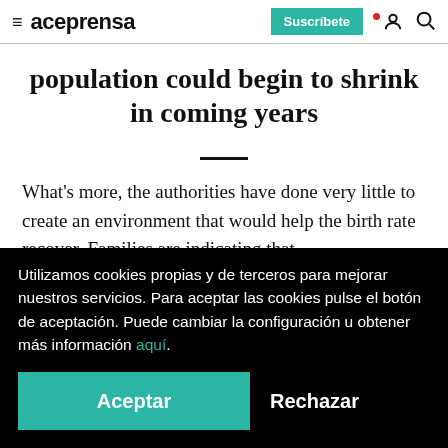aceprensa — Suscríbete
population could begin to shrink in coming years
What's more, the authorities have done very little to create an environment that would help the birth rate recover. Families are indicating that...
Utilizamos cookies propias y de terceros para mejorar nuestros servicios. Para aceptar las cookies pulse el botón de aceptación. Puede cambiar la configuración u obtener más información aquí.
Aceptar  Rechazar